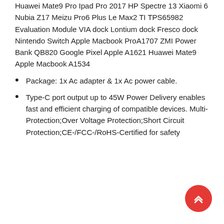Huawei Mate9 Pro Ipad Pro 2017 HP Spectre 13 Xiaomi 6 Nubia Z17 Meizu Pro6 Plus Le Max2 TI TPS65982 Evaluation Module VIA dock Lontium dock Fresco dock Nintendo Switch Apple Macbook ProA1707 ZMI Power Bank QB820 Google Pixel Apple A1621 Huawei Mate9 Apple Macbook A1534
Package: 1x Ac adapter & 1x Ac power cable.
Type-C port output up to 45W Power Delivery enables fast and efficient charging of compatible devices. Multi-Protection;Over Voltage Protection;Short Circuit Protection;CE-/FCC-/RoHS-Certified for safety